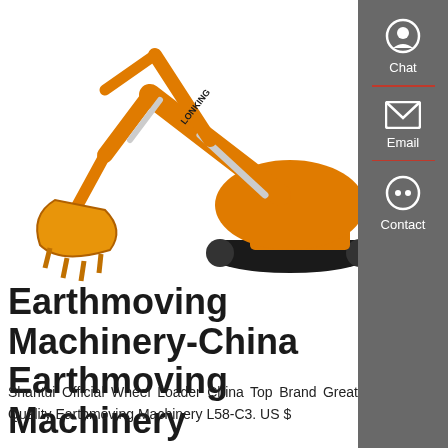[Figure (photo): Orange Lonking hydraulic excavator on white background, side view showing arm extended with bucket]
Earthmoving Machinery-China Earthmoving Machinery
Shantui Official Wheel Loader China Top Brand Great Quality Earthmoving Machinery L58-C3. US $